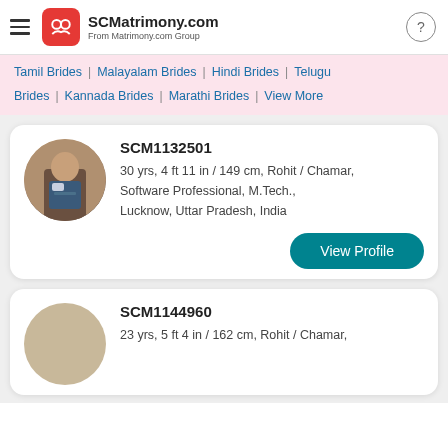SCMatrimony.com — From Matrimony.com Group
Tamil Brides | Malayalam Brides | Hindi Brides | Telugu
Brides | Kannada Brides | Marathi Brides | View More
SCM1132501
30 yrs, 4 ft 11 in / 149 cm, Rohit / Chamar, Software Professional, M.Tech., Lucknow, Uttar Pradesh, India
SCM1144960
23 yrs, 5 ft 4 in / 162 cm, Rohit / Chamar,